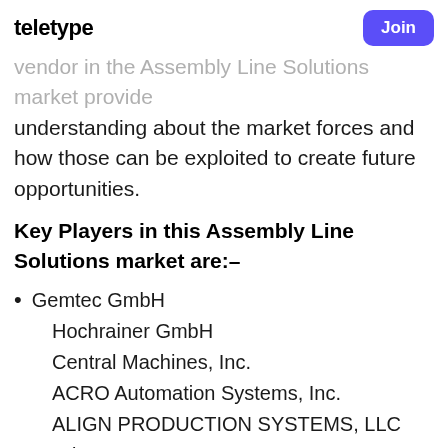teletype | Join
vendor in the Assembly Line Solutions market provide understanding about the market forces and how those can be exploited to create future opportunities.
Key Players in this Assembly Line Solutions market are:–
Gemtec GmbH
Hochrainer GmbH
Central Machines, Inc.
ACRO Automation Systems, Inc.
ALIGN PRODUCTION SYSTEMS, LLC
Adescor Inc.
UMD Automated Systems
Fusion Systems Group
Eriez Manufacturing Co.
SITEC Industrietechnologie GmbH